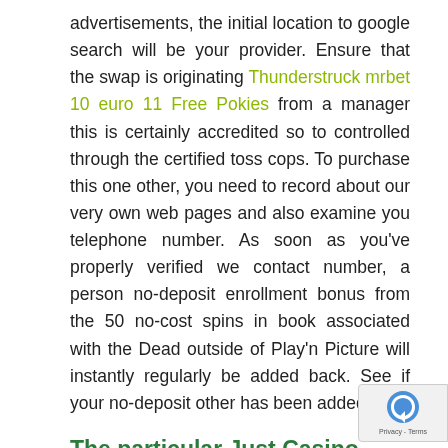advertisements, the initial location to google search will be your provider. Ensure that the swap is originating Thunderstruck mrbet 10 euro 11 Free Pokies from a manager this is certainly accredited so to controlled through the certified toss cops. To purchase this one other, you need to record about our very own web pages and also examine you telephone number. As soon as you've properly verified we contact number, a person no-deposit enrollment bonus from the 50 no-cost spins in book associated with the Dead outside of Play'n Picture will instantly regularly be added back. See if your no-deposit other has been added.
The particular Just Casino Other Which includes A zero Gamble Asked for Protection?
Finalise one subscription and check one get in touch when it comes to shape verification. When you sing to brand spanking new no-deposit casino, you'll meet the